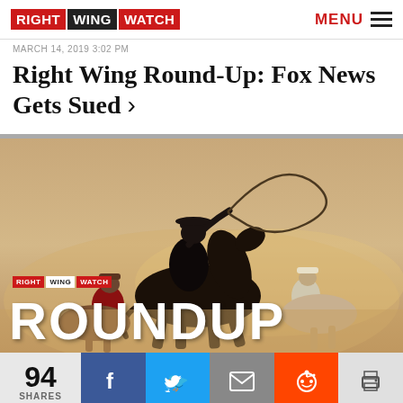RIGHT WING WATCH  MENU
MARCH 14, 2019 3:02 PM
Right Wing Round-Up: Fox News Gets Sued >
[Figure (photo): Right Wing Watch Roundup branded image showing cowboys on horseback with lassos, with 'RIGHT WING WATCH ROUNDUP' text overlay at bottom]
94 SHARES